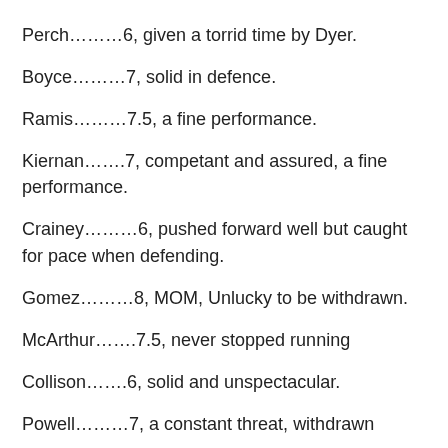Perch………6, given a torrid time by Dyer.
Boyce………7, solid in defence.
Ramis………7.5, a fine performance.
Kiernan…….7, competant and assured, a fine performance.
Crainey………6, pushed forward well but caught for pace when defending.
Gomez………8, MOM, Unlucky to be withdrawn.
McArthur…….7.5, never stopped running
Collison…….6, solid and unspectacular.
Powell………7, a constant threat, withdrawn